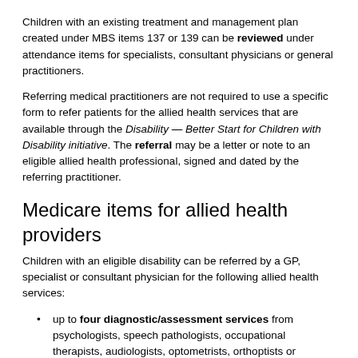Children with an existing treatment and management plan created under MBS items 137 or 139 can be reviewed under attendance items for specialists, consultant physicians or general practitioners.
Referring medical practitioners are not required to use a specific form to refer patients for the allied health services that are available through the Disability — Better Start for Children with Disability initiative. The referral may be a letter or note to an eligible allied health professional, signed and dated by the referring practitioner.
Medicare items for allied health providers
Children with an eligible disability can be referred by a GP, specialist or consultant physician for the following allied health services:
up to four diagnostic/assessment services from psychologists, speech pathologists, occupational therapists, audiologists, optometrists, orthoptists or physiotherapists to assist the referring practitioner with diagnosis or to contribute to a child's treatment and management plan (for a child under 13 years of age).
up to twenty treatment services from psychologists, speech pathologists, occupational therapists, audiologists, optometrists, orthoptists or physiotherapists (for a child under 15 years of age